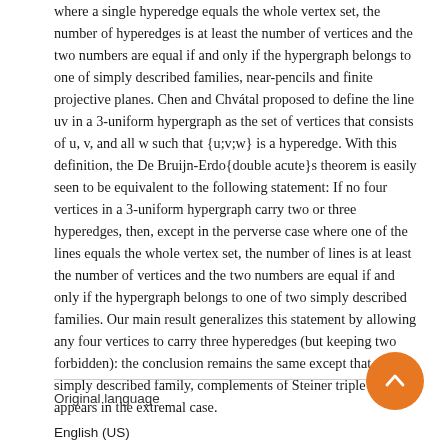where a single hyperedge equals the whole vertex set, the number of hyperedges is at least the number of vertices and the two numbers are equal if and only if the hypergraph belongs to one of simply described families, near-pencils and finite projective planes. Chen and Chvátal proposed to define the line uv in a 3-uniform hypergraph as the set of vertices that consists of u, v, and all w such that {u;v;w} is a hyperedge. With this definition, the De Bruijn-Erdo{double acute}s theorem is easily seen to be equivalent to the following statement: If no four vertices in a 3-uniform hypergraph carry two or three hyperedges, then, except in the perverse case where one of the lines equals the whole vertex set, the number of lines is at least the number of vertices and the two numbers are equal if and only if the hypergraph belongs to one of two simply described families. Our main result generalizes this statement by allowing any four vertices to carry three hyperedges (but keeping two forbidden): the conclusion remains the same except that a third simply described family, complements of Steiner triple systems, appears in the extremal case.
Original language
English (US)